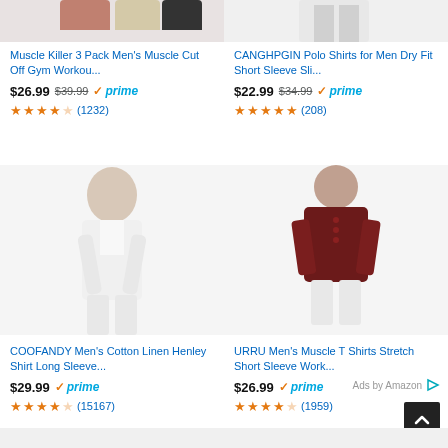[Figure (photo): Top portion of men wearing workout shirts - top left product image (cropped, showing torso)]
Muscle Killer 3 Pack Men's Muscle Cut Off Gym Workou...
$26.99  $39.99  prime  ★★★★☆ (1232)
[Figure (photo): Top portion of man wearing polo shirt - top right product image (cropped, showing lower half)]
CANGHPGIN Polo Shirts for Men Dry Fit Short Sleeve Sli...
$22.99  $34.99  prime  ★★★★½ (208)
[Figure (photo): Man wearing white cotton linen henley shirt with long sleeves]
COOFANDY Men's Cotton Linen Henley Shirt Long Sleeve...
$29.99  prime  ★★★★☆ (15167)
[Figure (photo): Muscular man wearing dark red/maroon henley t-shirt with white pants]
URRU Men's Muscle T Shirts Stretch Short Sleeve Work...
$26.99  prime  ★★★★☆ (1959)
Ads by Amazon